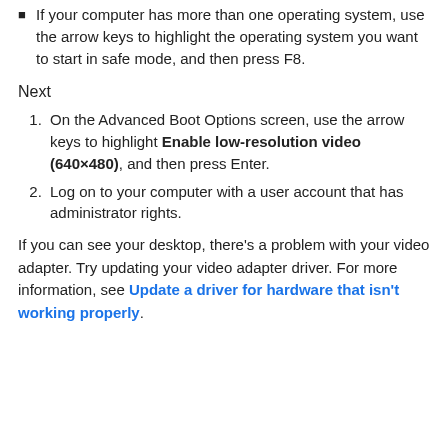If your computer has more than one operating system, use the arrow keys to highlight the operating system you want to start in safe mode, and then press F8.
Next
On the Advanced Boot Options screen, use the arrow keys to highlight Enable low-resolution video (640×480), and then press Enter.
Log on to your computer with a user account that has administrator rights.
If you can see your desktop, there's a problem with your video adapter. Try updating your video adapter driver. For more information, see Update a driver for hardware that isn't working properly.